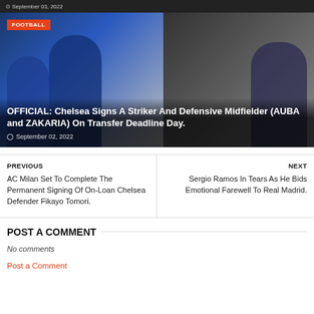September 03, 2022
[Figure (photo): Chelsea FC players in blue kits — AUBA (Aubameyang) waving, Zakaria smiling, and another player on right side. Orange FOOTBALL badge top left.]
OFFICIAL: Chelsea Signs A Striker And Defensive Midfielder (AUBA and ZAKARIA) On Transfer Deadline Day.
September 02, 2022
PREVIOUS
AC Milan Set To Complete The Permanent Signing Of On-Loan Chelsea Defender Fikayo Tomori.
NEXT
Sergio Ramos In Tears As He Bids Emotional Farewell To Real Madrid.
POST A COMMENT
No comments
Post a Comment